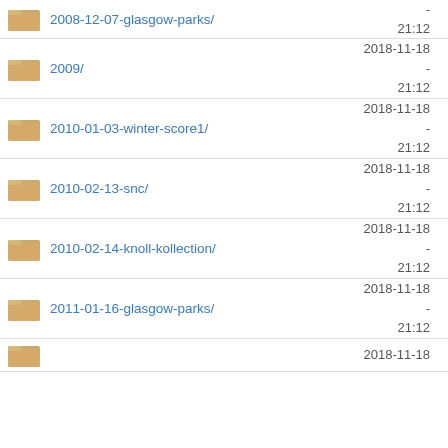2008-12-07-glasgow-parks/ 2018-11-18 21:12 -
2009/ 2018-11-18 21:12 -
2010-01-03-winter-score1/ 2018-11-18 21:12 -
2010-02-13-snc/ 2018-11-18 21:12 -
2010-02-14-knoll-kollection/ 2018-11-18 21:12 -
2011-01-16-glasgow-parks/ 2018-11-18 21:12 -
2018-11-18 (partial row)